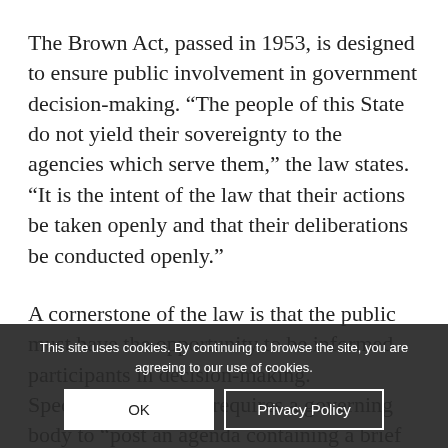The Brown Act, passed in 1953, is designed to ensure public involvement in government decision-making. “The people of this State do not yield their sovereignty to the agencies which serve them,” the law states. “It is the intent of the law that their actions be taken openly and that their deliberations be conducted openly.”
A cornerstone of the law is that the public must have the opportunity to be informed participants in decision-making. Specifically, the law requires a governing body to “post an agenda containing a brief general description of each item of business to be transacted or discussed at the meeting”